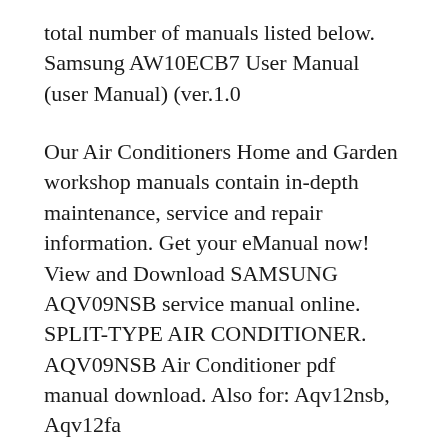total number of manuals listed below. Samsung AW10ECB7 User Manual (user Manual) (ver.1.0
Our Air Conditioners Home and Garden workshop manuals contain in-depth maintenance, service and repair information. Get your eManual now! View and Download SAMSUNG AQV09NSB service manual online. SPLIT-TYPE AIR CONDITIONER. AQV09NSB Air Conditioner pdf manual download. Also for: Aqv12nsb, Aqv12fa
Download free air conditioner PDF manuals for top brands. No accounts or sign ups necessary! Home; Samsung Air Conditioner Manuals. We currently have 20 Samsung air conditioner manuals available by PDF format at the